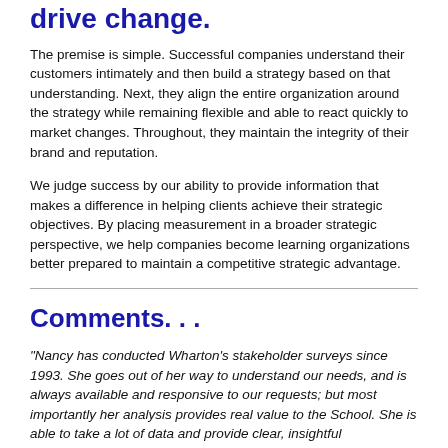drive change.
The premise is simple. Successful companies understand their customers intimately and then build a strategy based on that understanding. Next, they align the entire organization around the strategy while remaining flexible and able to react quickly to market changes. Throughout, they maintain the integrity of their brand and reputation.
We judge success by our ability to provide information that makes a difference in helping clients achieve their strategic objectives. By placing measurement in a broader strategic perspective, we help companies become learning organizations better prepared to maintain a competitive strategic advantage.
Comments. . .
"Nancy has conducted Wharton's stakeholder surveys since 1993. She goes out of her way to understand our needs, and is always available and responsive to our requests; but most importantly her analysis provides real value to the School. She is able to take a lot of data and provide clear, insightful recommendations. Overall